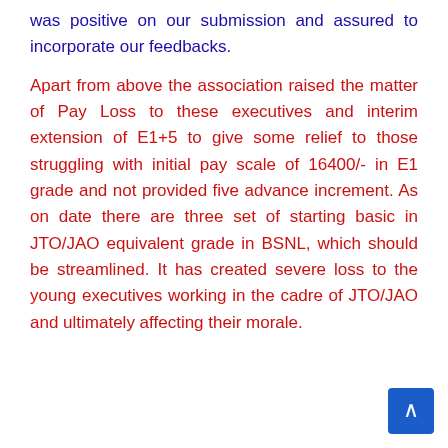was positive on our submission and assured to incorporate our feedbacks.
Apart from above the association raised the matter of Pay Loss to these executives and interim extension of E1+5 to give some relief to those struggling with initial pay scale of 16400/- in E1 grade and not provided five advance increment. As on date there are three set of starting basic in JTO/JAO equivalent grade in BSNL, which should be streamlined. It has created severe loss to the young executives working in the cadre of JTO/JAO and ultimately affecting their morale.